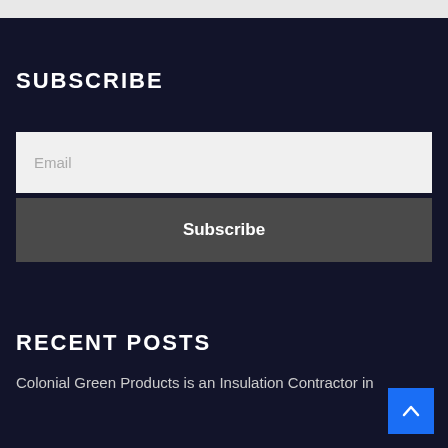SUBSCRIBE
Email
Subscribe
RECENT POSTS
Colonial Green Products is an Insulation Contractor in